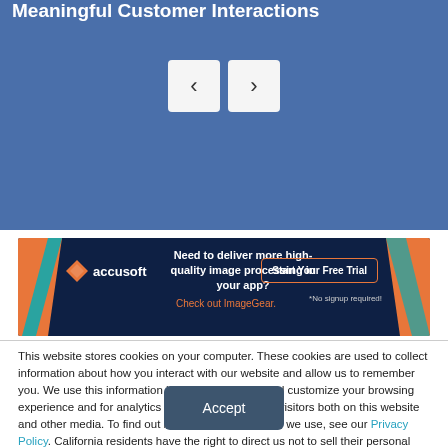Meaningful Customer Interactions
[Figure (screenshot): Navigation carousel prev/next buttons on blue background]
[Figure (screenshot): Accusoft ImageGear advertisement banner: Need to deliver more high-quality image processing in your app? Check out ImageGear. Start Your Free Trial. No signup required!]
This website stores cookies on your computer. These cookies are used to collect information about how you interact with our website and allow us to remember you. We use this information in order to improve and customize your browsing experience and for analytics and metrics about our visitors both on this website and other media. To find out more about the cookies we use, see our Privacy Policy. California residents have the right to direct us not to sell their personal information to third parties by filing an Opt-Out Request: Do Not Sell My Personal Info.